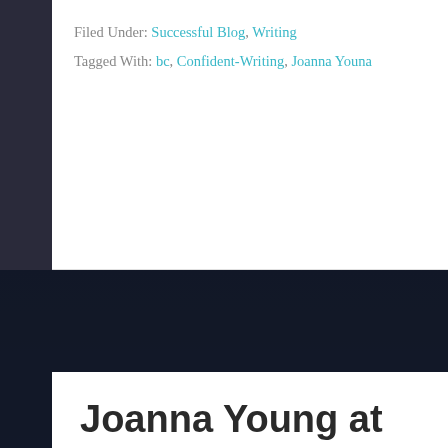Filed Under: Successful Blog, Writing
Tagged With: bc, Confident-Writing, Joanna Youna
Joanna Young at SOBCon08
May 7, 2008 by Liz + Leave a Comment